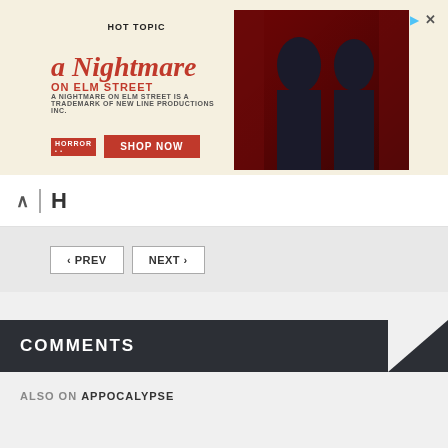[Figure (photo): Hot Topic advertisement for A Nightmare on Elm Street merchandise. Left side shows the movie title in red italic script with 'SHOP NOW' button. Right side shows two people in dark clothing against red curtain background. Ad controls (play and close) in top right corner.]
| H
< PREV   NEXT >
COMMENTS
ALSO ON APPOCALYPSE
[Figure (photo): Dark thumbnail image showing a helmeted figure against a dark blue/night background]
[Figure (photo): Dark thumbnail showing a person's silhouette in a dimly lit room]